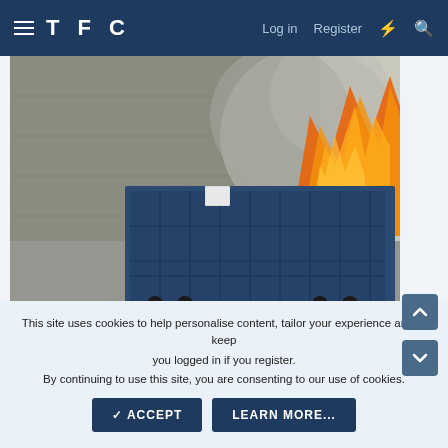TFC  Log in  Register
[Figure (photo): A blue dumpster/compactor in a concrete enclosure with a large orange fire and smoke erupting from behind it]
This site uses cookies to help personalise content, tailor your experience and to keep you logged in if you register.
By continuing to use this site, you are consenting to our use of cookies.
✓ ACCEPT    LEARN MORE...